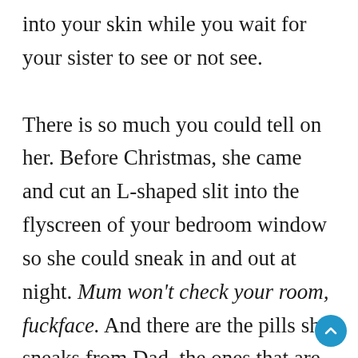into your skin while you wait for your sister to see or not see.

There is so much you could tell on her. Before Christmas, she came and cut an L-shaped slit into the flyscreen of your bedroom window so she could sneak in and out at night. Mum won't check your room, fuckface. And there are the pills she sneaks from Dad, the ones that are meant to keep him calm, which she sells to people at parties for two dollars a pop. And now this.